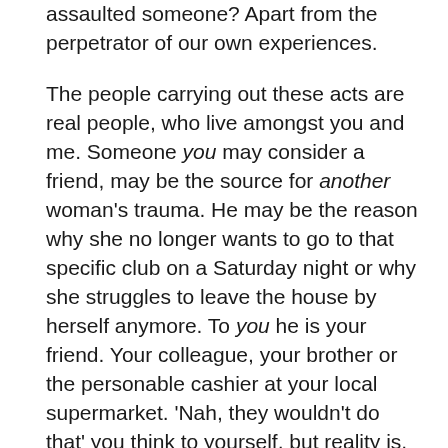assaulted someone? Apart from the perpetrator of our own experiences.

The people carrying out these acts are real people, who live amongst you and me. Someone you may consider a friend, may be the source for another woman's trauma. He may be the reason why she no longer wants to go to that specific club on a Saturday night or why she struggles to leave the house by herself anymore. To you he is your friend. Your colleague, your brother or the personable cashier at your local supermarket. 'Nah, they wouldn't do that' you think to yourself, but reality is, anyone has the ability to. They're not monsters under your bed, and though men in alleyways wearing balaclavas